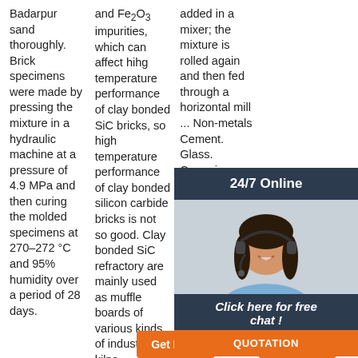Badarpur sand thoroughly. Brick specimens were made by pressing the mixture in a hydraulic machine at a pressure of 4.9 MPa and then curing the molded specimens at 270–272 °C and 95% humidity over a period of 28 days.
and Fe2O3 impurities, which can affect hihg temperature performance of clay bonded SiC bricks, so high temperature performance of clay bonded silicon carbide bricks is not so good. Clay bonded SiC refractory are mainly used as muffle boards of various kinds of industrial kilns ...
added in a mixer; the mixture is rolled again and then fed through a horizontal mill ... Non-metals Cement. Glass. Ceramics. Chemicals, petroleum ... For example, processes demanding resistance to gaseous or liquid corrosion require low porosity ...
[Figure (other): Customer support widget overlay with dark header '24/7 Online', photo of a woman with headset, italic text 'Click here for free chat!', and an orange QUOTATION button]
Get Price
Get Price
Get Price